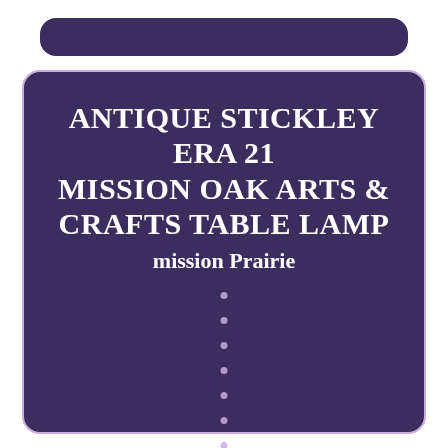ANTIQUE STICKLEY ERA 21 MISSION OAK ARTS & CRAFTS TABLE LAMP mission Prairie